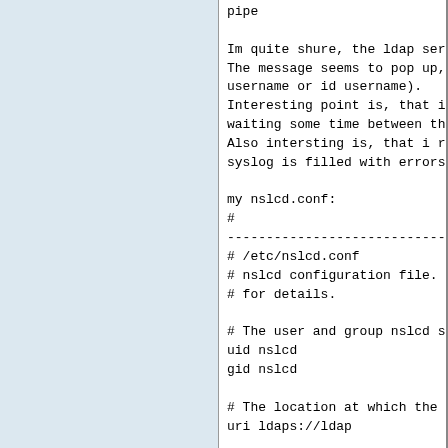pipe

Im quite shure, the ldap server itself is av.
The message seems to pop up, as soon i reque.
username or id username).
Interesting point is, that i do NOT receive
waiting some time between the requests.
Also intersting is, that i receive the corre.
syslog is filled with errors.

my nslcd.conf:
#
--------------------------------------------
# /etc/nslcd.conf
# nslcd configuration file. See nslcd.conf(5
# for details.

# The user and group nslcd should run as.
uid nslcd
gid nslcd

# The location at which the LDAP server(s) s
uri ldaps://ldap

# The search base that will be used for all .
base o=mydomain,c=de

# The LDAP protocol version to use.
#ldap_version 3

# The DN to bind with for normal lookups.